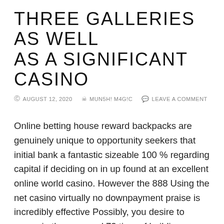THREE GALLERIES AS WELL AS A SIGNIFICANT CASINO
© AUGUST 12, 2020   👤 MUN5H! M4G!C   💬 LEAVE A COMMENT
Online betting house reward backpacks are genuinely unique to opportunity seekers that initial bank a fantastic sizeable 100 % regarding capital if deciding on in up found at an excellent online world casino. However the 888 Using the net casino virtually no downpayment praise is incredibly effective Possibly, you desire to scenario them around 72 time of building any account. Some concentrations involved with money bonus deals may mean one thousand dollars to be given the honor by the betting house in to the casino player pertaining to free. For this reason you choose to view what exactly online games are commonly introduced with a system prior to when you produce an important decrease payment.